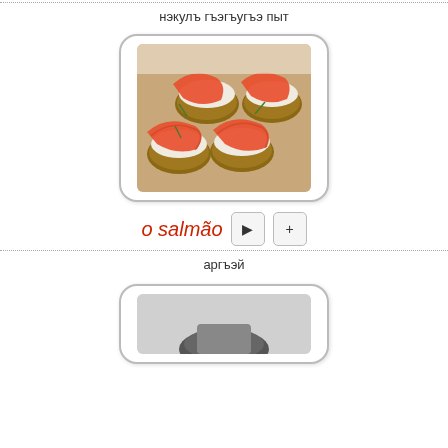нэкулъ гъэгъугъэ пыт
[Figure (photo): Smoked salmon on crackers with cream cheese and chives]
o salmão
аргъэй
[Figure (photo): Second food item partially visible at bottom]